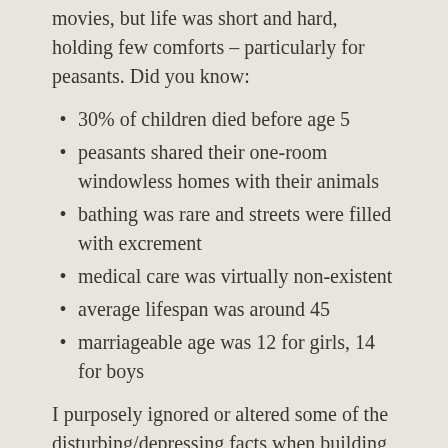movies, but life was short and hard, holding few comforts – particularly for peasants. Did you know:
30% of children died before age 5
peasants shared their one-room windowless homes with their animals
bathing was rare and streets were filled with excrement
medical care was virtually non-existent
average lifespan was around 45
marriageable age was 12 for girls, 14 for boys
I purposely ignored or altered some of the disturbing/depressing facts when building the world for my stories, but the medieval period